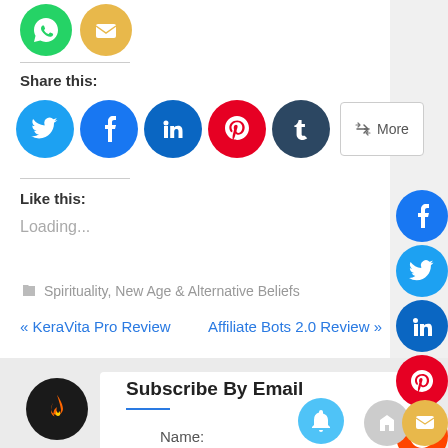[Figure (illustration): Two circular social icons at top: WhatsApp (green) and Email (yellow)]
Share this:
[Figure (illustration): Row of social share buttons: Twitter (blue), Facebook (blue), LinkedIn (teal), Pinterest (red), Tumblr (dark blue), and a More button]
Like this:
Loading...
Spirituality, New Age & Alternative Beliefs
« KeraVita Pro Review
Affiliate Bots 2.0 Review »
Subscribe By Email
Name:
[Figure (illustration): Right sidebar with Facebook, Twitter, LinkedIn, Pinterest, Reddit, WhatsApp, and Email circular social icons]